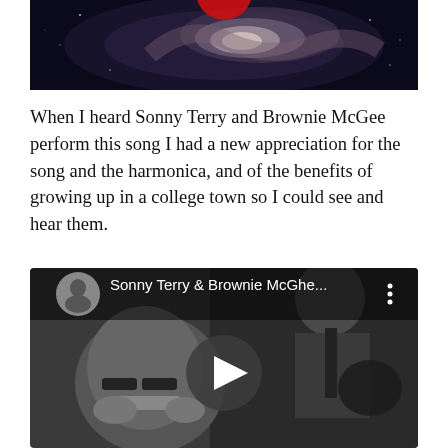[Figure (photo): Partial view of a galaxy image with dark space background and swirling cosmic structure, with a red circular element partially visible at top]
When I heard Sonny Terry and Brownie McGee perform this song I had a new appreciation for the song and the harmonica, and of the benefits of growing up in a college town so I could see and hear them.
[Figure (screenshot): YouTube video thumbnail showing Sonny Terry & Brownie McGhe... with a play button overlay. Black and white image of two musicians - one playing harmonica in foreground, one playing guitar in background. YouTube channel icon visible in top left corner.]